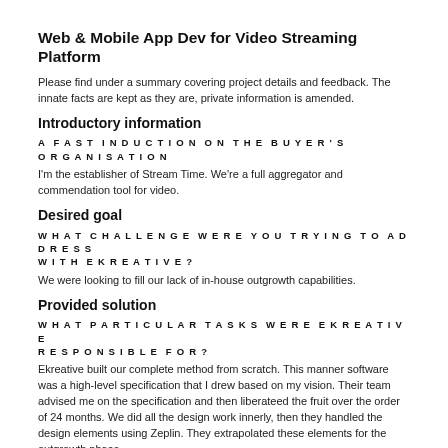Web & Mobile App Dev for Video Streaming Platform
Please find under a summary covering project details and feedback. The innate facts are kept as they are, private information is amended.
Introductory information
A FAST INDUCTION ON THE BUYER'S ORGANISATION
I'm the establisher of Stream Time. We're a full aggregator and commendation tool for video.
Desired goal
WHAT CHALLENGE WERE YOU TRYING TO ADDRESS WITH EKREATIVE?
We were looking to fill our lack of in-house outgrowth capabilities.
Provided solution
WHAT PARTICULAR TASKS WERE EKREATIVE RESPONSIBLE FOR?
Ekreative built our complete method from scratch. This manner software was a high-level specification that I drew based on my vision. Their team advised me on the specification and then liberateed the fruit over the order of 24 months. We did all the design work innerly, then they handled the design elements using Zeplin. They extrapolated these elements for the outgrowth phase.